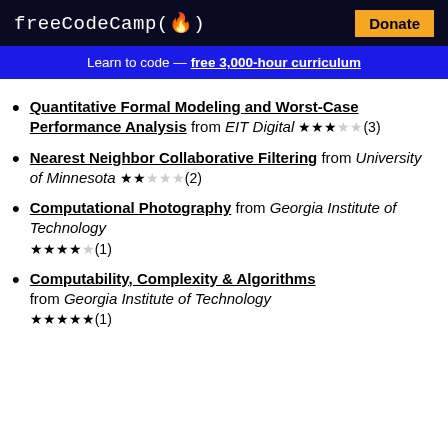freeCodeCamp(🔥)  Donate
Learn to code — free 3,000-hour curriculum
Quantitative Formal Modeling and Worst-Case Performance Analysis from EIT Digital ★★★☆☆(3)
Nearest Neighbor Collaborative Filtering from University of Minnesota ★★☆☆☆(2)
Computational Photography from Georgia Institute of Technology ★★★★☆(1)
Computability, Complexity & Algorithms from Georgia Institute of Technology ★★★★★(1)